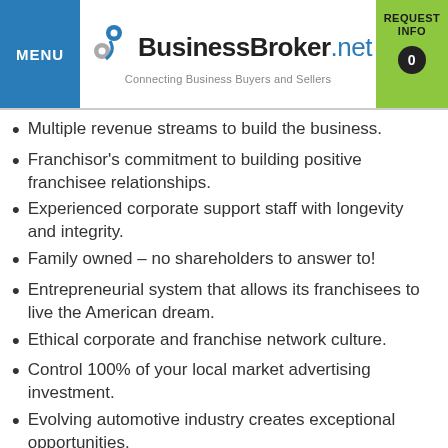MENU | BusinessBroker.net Connecting Business Buyers and Sellers | REQUEST INFO 0
Multiple revenue streams to build the business.
Franchisor's commitment to building positive franchisee relationships.
Experienced corporate support staff with longevity and integrity.
Family owned – no shareholders to answer to!
Entrepreneurial system that allows its franchisees to live the American dream.
Ethical corporate and franchise network culture.
Control 100% of your local market advertising investment.
Evolving automotive industry creates exceptional opportunities.
VetFran and MinorityFran Discounts Available.